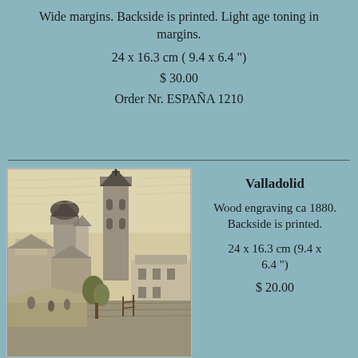Wide margins. Backside is printed. Light age toning in margins.
24 x 16.3 cm ( 9.4 x 6.4 ")
$ 30.00
Order Nr. ESPAÑA 1210
[Figure (illustration): Wood engraving of Valladolid cityscape ca 1880, showing church towers and rooftops]
Valladolid
Wood engraving ca 1880. Backside is printed.
24 x 16.3 cm (9.4 x 6.4 ")
$ 20.00